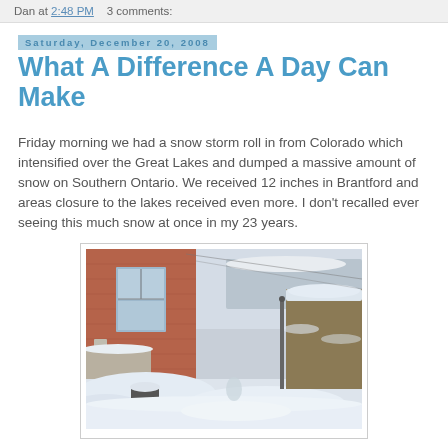Dan at 2:48 PM   3 comments:
Saturday, December 20, 2008
What A Difference A Day Can Make
Friday morning we had a snow storm roll in from Colorado which intensified over the Great Lakes and dumped a massive amount of snow on Southern Ontario. We received 12 inches in Brantford and areas closure to the lakes received even more. I don't recalled ever seeing this much snow at once in my 23 years.
[Figure (photo): Winter snow scene showing the side of a red brick building with deep snow covering the ground, pipes on the wall, and snow-covered hedges and trees in the background.]